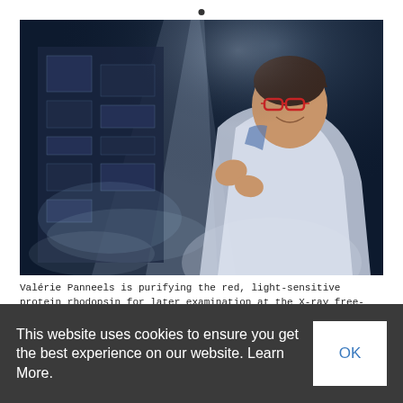[Figure (photo): A woman with red glasses wearing a white lab coat, smiling and working with equipment at a scientific facility. The image has a dark blue background with scientific apparatus visible, and a beam of light in the upper portion. Composite image merging a portrait with a schematic/technical overlay.]
Valérie Panneels is purifying the red, light-sensitive protein rhodopsin for later examination at the X-ray free-electron laser SwissFEL. (Photo: Scanderbeg Sauer Photography)
This website uses cookies to ensure you get the best experience on our website. Learn More.